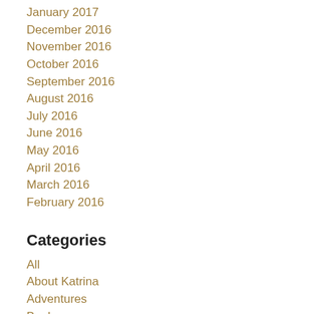January 2017
December 2016
November 2016
October 2016
September 2016
August 2016
July 2016
June 2016
May 2016
April 2016
March 2016
February 2016
Categories
All
About Katrina
Adventures
Books
Community
Connect With KD's Adv.
Decluttering